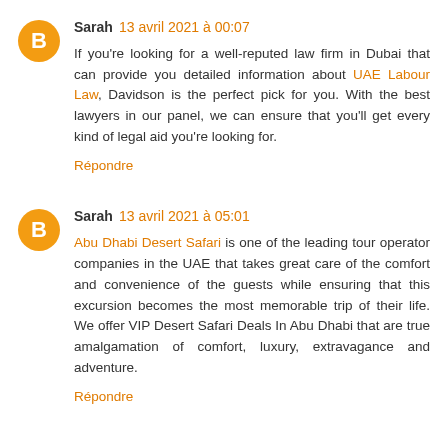Sarah 13 avril 2021 à 00:07
If you're looking for a well-reputed law firm in Dubai that can provide you detailed information about UAE Labour Law, Davidson is the perfect pick for you. With the best lawyers in our panel, we can ensure that you'll get every kind of legal aid you're looking for.
Répondre
Sarah 13 avril 2021 à 05:01
Abu Dhabi Desert Safari is one of the leading tour operator companies in the UAE that takes great care of the comfort and convenience of the guests while ensuring that this excursion becomes the most memorable trip of their life. We offer VIP Desert Safari Deals In Abu Dhabi that are true amalgamation of comfort, luxury, extravagance and adventure.
Répondre